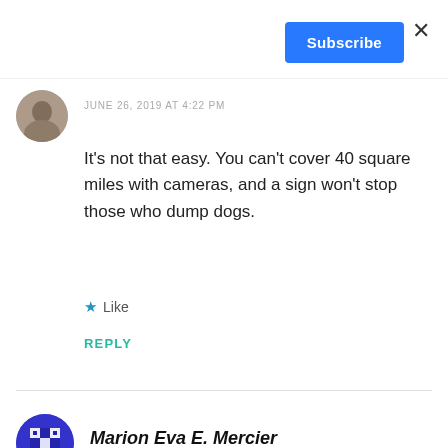×
Subscribe
JUNE 26, 2019 AT 4:22 PM
It's not that easy. You can't cover 40 square miles with cameras, and a sign won't stop those who dump dogs.
Like
REPLY
Marion Eva E. Mercier